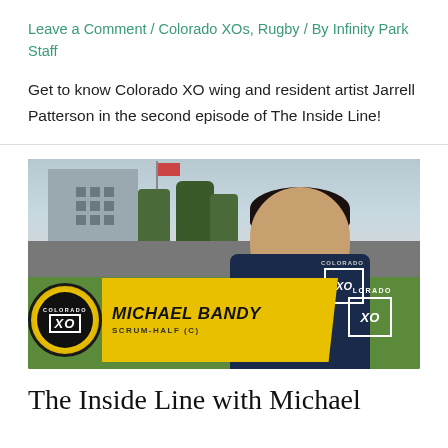Leave a Comment / Colorado XOs, Rugby / By Infinity Park Staff
Get to know Colorado XO wing and resident artist Jarrell Patterson in the second episode of The Inside Line!
[Figure (screenshot): Video thumbnail showing a man in a Colorado XO navy rugby jersey sitting on a field. A lower-third graphic identifies him as MICHAEL BANDY, SCRUM-HALF (C), with the Colorado XO logo.]
The Inside Line with Michael